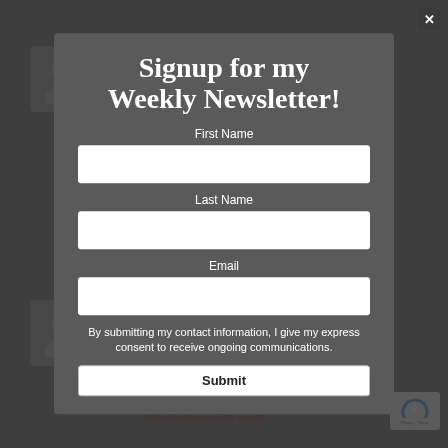[Figure (screenshot): Background web page with gray/dark overlay, showing avatar images, partial text about hydroxychloroquine and erythromycin links, and a reCAPTCHA badge.]
Signup for my Weekly Newsletter!
First Name
Last Name
Email
By submitting my contact information, I give my express consent to receive ongoing communications.
Submit